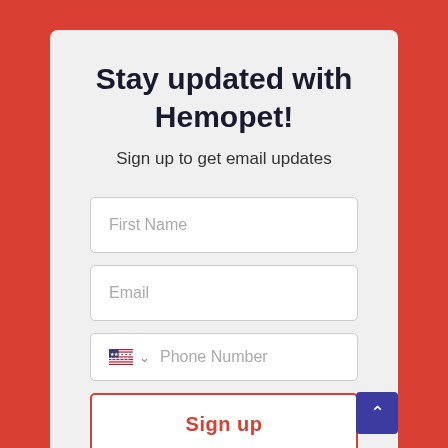Stay updated with Hemopet!
Sign up to get email updates
[Figure (screenshot): Web form with three input fields: First Name, Email, and Phone Number (with US flag country selector), plus a Sign up button at the bottom. Red scroll-to-top button in the bottom right corner.]